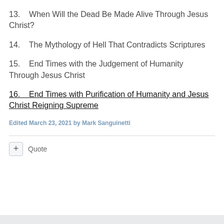13.    When Will the Dead Be Made Alive Through Jesus Christ?
14.    The Mythology of Hell That Contradicts Scriptures
15.    End Times with the Judgement of Humanity Through Jesus Christ
16.    End Times with Purification of Humanity and Jesus Christ Reigning Supreme
Edited March 23, 2021 by Mark Sanguinetti
+ Quote